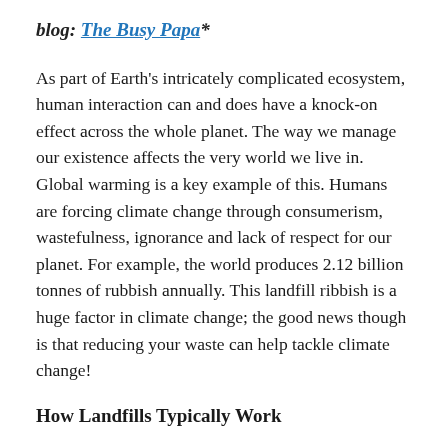blog: The Busy Papa*
As part of Earth’s intricately complicated ecosystem, human interaction can and does have a knock-on effect across the whole planet. The way we manage our existence affects the very world we live in. Global warming is a key example of this. Humans are forcing climate change through consumerism, wastefulness, ignorance and lack of respect for our planet. For example, the world produces 2.12 billion tonnes of rubbish annually. This landfill ribbish is a huge factor in climate change; the good news though is that reducing your waste can help tackle climate change!
How Landfills Typically Work